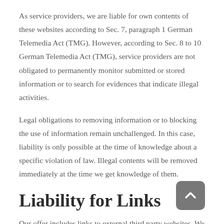As service providers, we are liable for own contents of these websites according to Sec. 7, paragraph 1 German Telemedia Act (TMG). However, according to Sec. 8 to 10 German Telemedia Act (TMG), service providers are not obligated to permanently monitor submitted or stored information or to search for evidences that indicate illegal activities.
Legal obligations to removing information or to blocking the use of information remain unchallenged. In this case, liability is only possible at the time of knowledge about a specific violation of law. Illegal contents will be removed immediately at the time we get knowledge of them.
Liability for Links
Our offer includes links to external third party websites. We have no influence on the contents of those websites, therefore